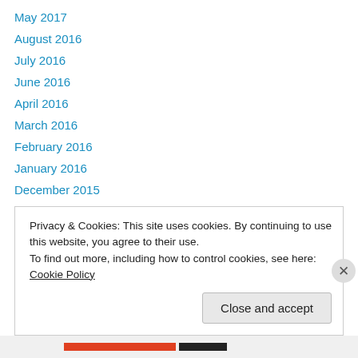May 2017
August 2016
July 2016
June 2016
April 2016
March 2016
February 2016
January 2016
December 2015
November 2015
October 2015
September 2015
August 2015
Privacy & Cookies: This site uses cookies. By continuing to use this website, you agree to their use. To find out more, including how to control cookies, see here: Cookie Policy
Close and accept